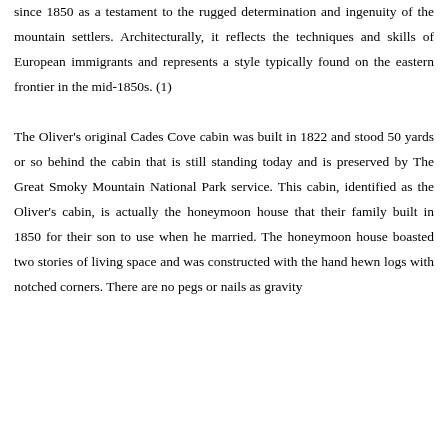since 1850 as a testament to the rugged determination and ingenuity of the mountain settlers. Architecturally, it reflects the techniques and skills of European immigrants and represents a style typically found on the eastern frontier in the mid-1850s. (1)

The Oliver's original Cades Cove cabin was built in 1822 and stood 50 yards or so behind the cabin that is still standing today and is preserved by The Great Smoky Mountain National Park service. This cabin, identified as the Oliver's cabin, is actually the honeymoon house that their family built in 1850 for their son to use when he married. The honeymoon house boasted two stories of living space and was constructed with the hand hewn logs with notched corners. There are no pegs or nails as gravity